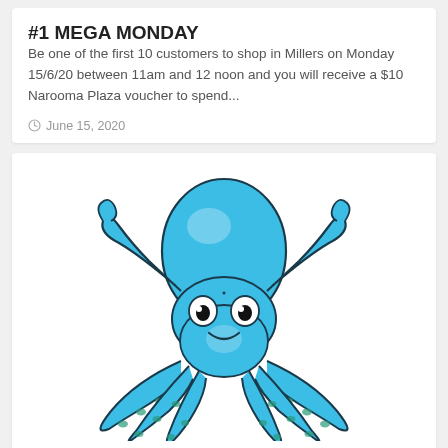#1 MEGA MONDAY
Be one of the first 10 customers to shop in Millers on Monday 15/6/20 between 11am and 12 noon and you will receive a $10 Narooma Plaza voucher to spend...
June 15, 2020
[Figure (illustration): Cartoon blue octopus illustration with smiling face and eight tentacles, rendered in bright blue with teal/green sucker details and dark outlines]
Centre Management    Competitions